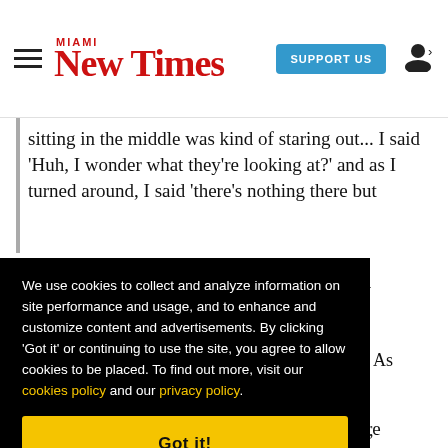Miami New Times — SUPPORT US
sitting in the middle was kind of staring out... I said 'Huh, I wonder what they're looking at?' and as I turned around, I said 'there's nothing there but
We use cookies to collect and analyze information on site performance and usage, and to enhance and customize content and advertisements. By clicking 'Got it' or continuing to use the site, you agree to allow cookies to be placed. To find out more, visit our cookies policy and our privacy policy.
Got it!
swerved to avoid hitting a dumpster, then bore